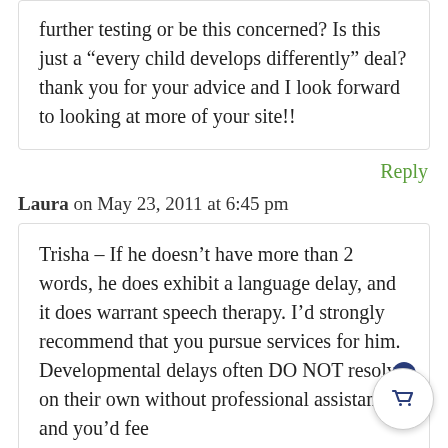further testing or be this concerned? Is this just a “every child develops differently” deal? thank you for your advice and I look forward to looking at more of your site!!
Reply
Laura on May 23, 2011 at 6:45 pm
Trisha – If he doesn’t have more than 2 words, he does exhibit a language delay, and it does warrant speech therapy. I’d strongly recommend that you pursue services for him. Developmental delays often DO NOT resolve on their own without professional assistance, and you’d feel so guilty if you waited and waited and waited